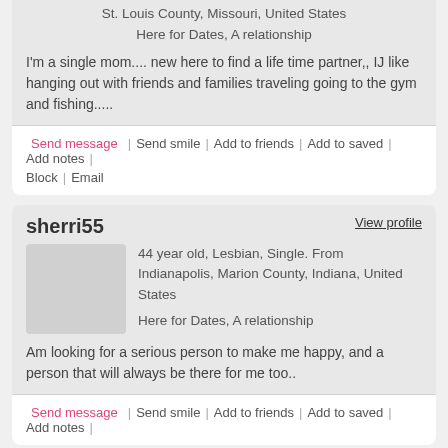St. Louis County, Missouri, United States
Here for Dates, A relationship
I'm a single mom.... new here to find a life time partner,, IJ like hanging out with friends and families traveling going to the gym and fishing.....
Send message | Send smile | Add to friends | Add to saved | Add notes | Block | Email
sherri55
View profile
44 year old, Lesbian, Single. From Indianapolis, Marion County, Indiana, United States
Here for Dates, A relationship
Am looking for a serious person to make me happy, and a person that will always be there for me too..
Send message | Send smile | Add to friends | Add to saved | Add notes